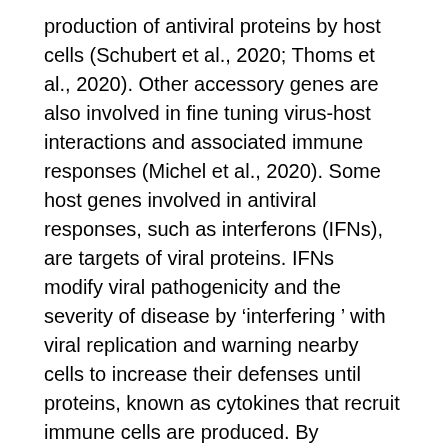production of antiviral proteins by host cells (Schubert et al., 2020; Thoms et al., 2020). Other accessory genes are also involved in fine tuning virus-host interactions and associated immune responses (Michel et al., 2020). Some host genes involved in antiviral responses, such as interferons (IFNs), are targets of viral proteins. IFNs  modify viral pathogenicity and the severity of disease by 'interfering ' with viral replication and warning nearby cells to increase their defenses until proteins, known as cytokines that recruit immune cells are produced. By circumventing this response, the virus can replicate relatively unchecked. One striking feature of SARS-CoV-2 infection is its ability to block IFN responses while still activating the production of other cytokines (Blanco-Melo et al., 2020). As a result, inflammatory immune cells arrive at the site of